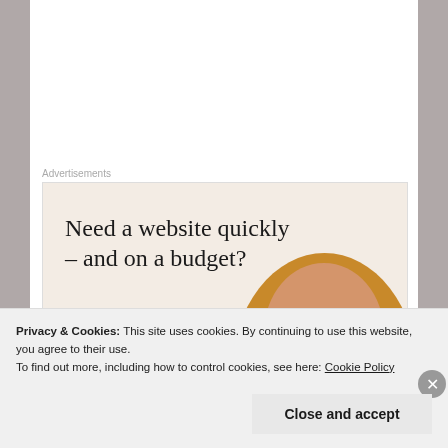Advertisements
[Figure (illustration): Advertisement banner with beige background. Large serif headline: 'Need a website quickly – and on a budget?' Subtext: 'Let us build it for you'. Button: 'Let's get started'. Circular photo of person's hands at a desk.]
Father called forth all the creatures unto Adam for
Privacy & Cookies: This site uses cookies. By continuing to use this website, you agree to their use.
To find out more, including how to control cookies, see here: Cookie Policy
Close and accept